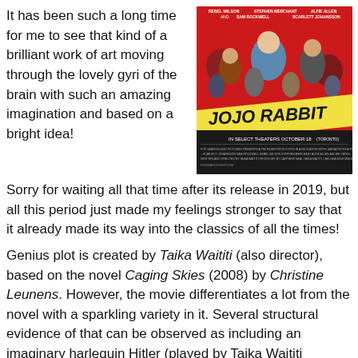It has been such a long time for me to see that kind of a brilliant work of art moving through the lovely gyri of the brain with such an amazing imagination and based on a bright idea!
[Figure (photo): Movie poster for Jojo Rabbit, featuring cast members on a red background with the title 'JOJO RABBIT' in large letters, 'In Select Theaters October 18', with cast names including Rebel Wilson, Stephen Merchant, Alfie Allen, Sam Rockwell, Scarlett Johansson listed at top.]
Sorry for waiting all that time after its release in 2019, but all this period just made my feelings stronger to say that it already made its way into the classics of all the times!
Genius plot is created by Taika Waititi (also director), based on the novel Caging Skies (2008) by Christine Leunens. However, the movie differentiates a lot from the novel with a sparkling variety in it. Several structural evidence of that can be observed as including an imaginary harlequin Hitler (played by Taika Waititi himself), physical removal of several family